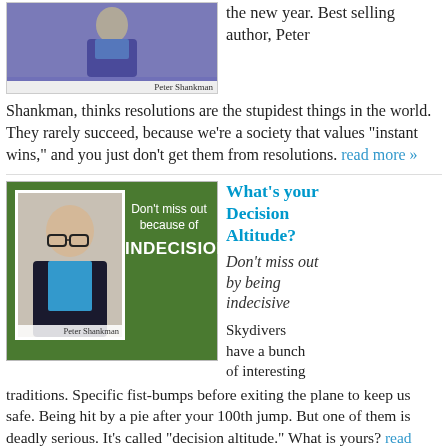[Figure (photo): Photo of Peter Shankman on purple/blue background with caption 'Peter Shankman']
Best selling author, Peter Shankman, thinks resolutions are the stupidest things in the world. They rarely succeed, because we're a society that values "instant wins," and you just don't get them from resolutions. read more »
[Figure (photo): Photo of Peter Shankman on green background with text 'Don't miss out because of INDECISION' and caption 'Peter Shankman']
What's your Decision Altitude?
Don't miss out by being indecisive
Skydivers have a bunch of interesting traditions. Specific fist-bumps before exiting the plane to keep us safe. Being hit by a pie after your 100th jump. But one of them is deadly serious. It's called "decision altitude." What is yours? read more »